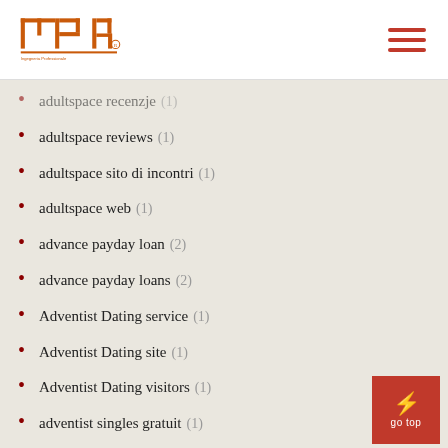INP logo and navigation
adultspace recenzje (1)
adultspace reviews (1)
adultspace sito di incontri (1)
adultspace web (1)
advance payday loan (2)
advance payday loans (2)
Adventist Dating service (1)
Adventist Dating site (1)
Adventist Dating visitors (1)
adventist singles gratuit (1)
adventist singles mobile site (1)